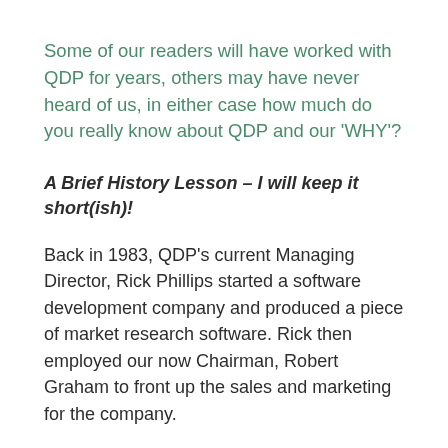Some of our readers will have worked with QDP for years, others may have never heard of us, in either case how much do you really know about QDP and our 'WHY'?
A Brief History Lesson – I will keep it short(ish)!
Back in 1983, QDP's current Managing Director, Rick Phillips started a software development company and produced a piece of market research software. Rick then employed our now Chairman, Robert Graham to front up the sales and marketing for the company.